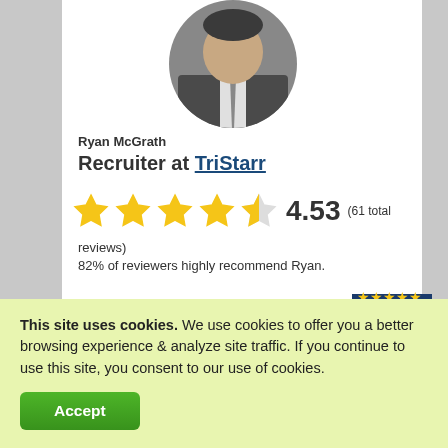[Figure (photo): Circular profile photo of Ryan McGrath wearing a suit and tie]
Ryan McGrath
Recruiter at TriStarr
4.53 (61 total reviews)
82% of reviewers highly recommend Ryan.
[Figure (logo): Glassdoor-style badge with shield shape, dark blue background, green shield with white 'gr' logo, and 5 yellow stars on top]
Contact Me
This site uses cookies. We use cookies to offer you a better browsing experience & analyze site traffic. If you continue to use this site, you consent to our use of cookies.
Accept